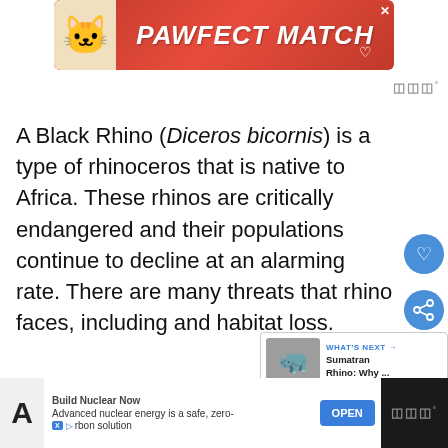[Figure (screenshot): PAWFECT MATCH advertisement banner with cat image on orange/red background]
A Black Rhino (Diceros bicornis) is a type of rhinoceros that is native to Africa. These rhinos are critically endangered and their populations continue to decline at an alarming rate. There are many threats that rhino faces, including and habitat loss.
[Figure (screenshot): What's Next widget showing Sumatran Rhino: Why ...]
[Figure (screenshot): Bottom advertisement bar: Build Nuclear Now - Advanced nuclear energy is a safe, zero-carbon solution with OPEN button]